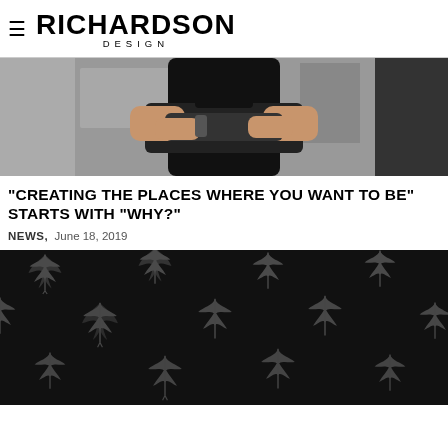RICHARDSON DESIGN
[Figure (photo): Man standing with arms crossed wearing black t-shirt, blurred background]
"CREATING THE PLACES WHERE YOU WANT TO BE" STARTS WITH "WHY?"
NEWS,  June 18, 2019
[Figure (illustration): Black background with repeating grey cannabis leaf pattern]